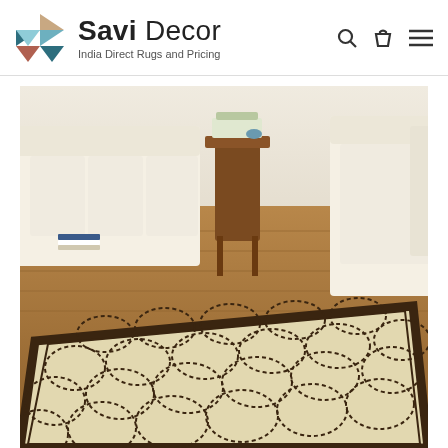Savi Decor — India Direct Rugs and Pricing
[Figure (photo): Living room scene featuring a cream/beige area rug with a dark brown dotted floral/organic pattern and a dark brown border. The rug is laid on a wood floor surrounded by white upholstered furniture and a wooden chair in the background.]